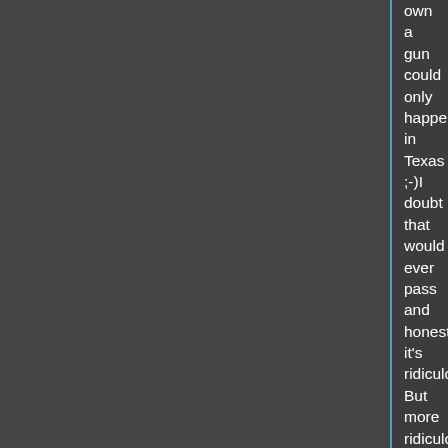own a gun could only happen in Texas ;-)I doubt that would ever pass and honestly it's ridiculous. But more ridiculous things have been made into law so you never know.
These numbers are old but still show gun control is not an answer to any problem like what happened. More relaxed laws for law abiding gun owners do help. At one time Florida had the highest murder rate of any state. Dade county was known as Murder County USA. Time Magazine even did a cover story on it. Since then, gun crimes have gone down while the cause(illegal drugs) has not dropped and has probably